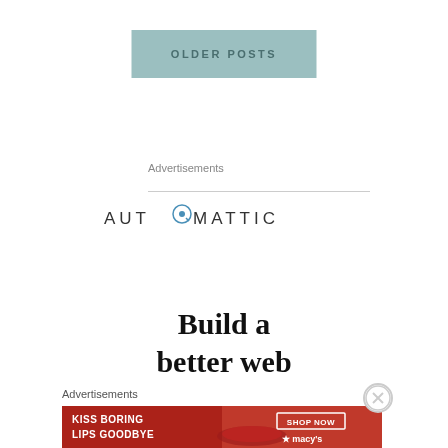OLDER POSTS
Advertisements
[Figure (logo): Automattic logo with stylized 'O' icon in the word]
Build a
better web
Advertisements
[Figure (illustration): Macy's advertisement: KISS BORING LIPS GOODBYE with SHOP NOW button and Macy's star logo]